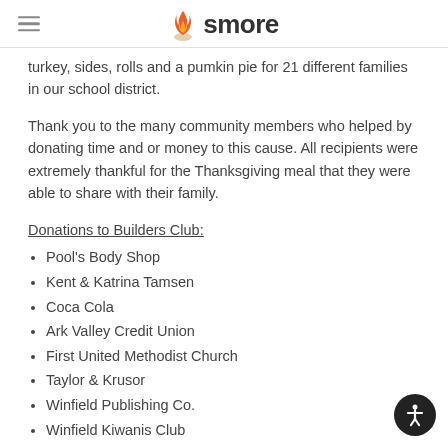smore
turkey, sides, rolls and a pumkin pie for 21 different families in our school district.
Thank you to the many community members who helped by donating time and or money to this cause. All recipients were extremely thankful for the Thanksgiving meal that they were able to share with their family.
Donations to Builders Club:
Pool's Body Shop
Kent & Katrina Tamsen
Coca Cola
Ark Valley Credit Union
First United Methodist Church
Taylor & Krusor
Winfield Publishing Co.
Winfield Kiwanis Club
Jolene & Richard Miller